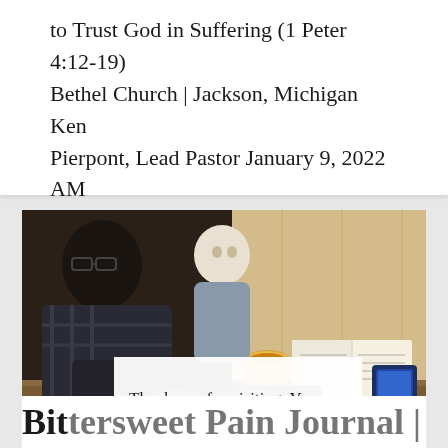to Trust God in Suffering (1 Peter 4:12-19) Bethel Church | Jackson, Michigan Ken Pierpont, Lead Pastor January 9, 2022 AM
[Figure (photo): An older man wearing glasses and a plaid jacket sitting at a table typing on a keyboard, with a young child in a puffy jacket beside him. An open book and a coffee drink are visible on the table. Warm wood-paneled background.]
Thank you for visiting. You can now buy me a coffee!
Bittersweet Pain Journal |